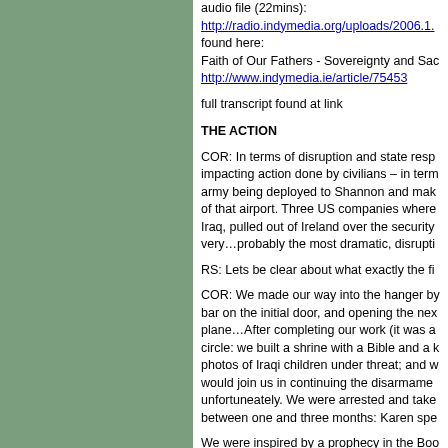audio file (22mins): http://radio.indymedia.org/uploads/2006.1... found here: Faith of Our Fathers - Sovereignty and Sac... http://www.indymedia.ie/article/75453
full transcript found at link
THE ACTION
COR: In terms of disruption and state resp... impacting action done by civilians – in term... army being deployed to Shannon and mak... of that airport. Three US companies where Iraq, pulled out of Ireland over the security very…probably the most dramatic, disrupti...
RS: Lets be clear about what exactly the fi...
COR: We made our way into the hanger by... bar on the initial door, and opening the nex... plane…After completing our work (it was a... circle: we built a shrine with a Bible and a k... photos of Iraqi children under threat; and w... would join us in continuing the disarmame... unfortuneately. We were arrested and take... between one and three months: Karen spe...
We were inspired by a prophecy in the Boo... ploughshares", and every action, I think, on... element to it, and I believe it is the symboli...